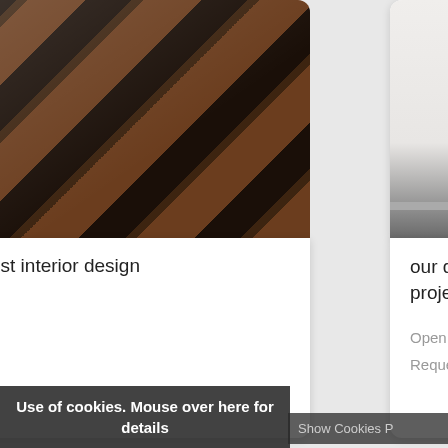[Figure (photo): Dark wood stair flooring/steps viewed from above at an angle, showing diagonal pattern]
est interior design
v
[Figure (photo): Light grey/white wall with grey baseboard/skirting board at the bottom]
our design team’s la project
Open in New Windo
Request Informatio
[Figure (photo): Dark interior photo, partially visible]
[Figure (photo): Beige/tan flooring or material sample]
Show Cookies P
Use of cookies. Mouse over here for details